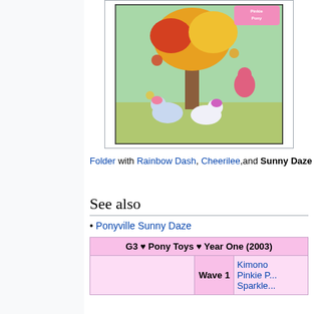[Figure (photo): A folder/book cover showing My Little Pony characters Rainbow Dash, Cheerilee, and Sunny Daze under an autumn tree with colorful leaves]
Folder with Rainbow Dash, Cheerilee, and Sunny Daze
See also
Ponyville Sunny Daze
| G3 ♥ Pony Toys ♥ Year One (2003) |
| --- |
| Wave 1 | Kimono, Pinkie P..., Sparkle... |